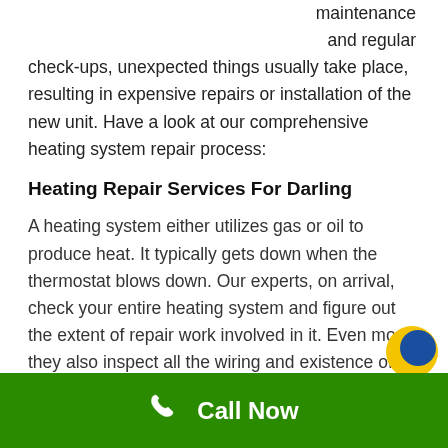maintenance and regular check-ups, unexpected things usually take place, resulting in expensive repairs or installation of the new unit. Have a look at our comprehensive heating system repair process:
Heating Repair Services For Darling
A heating system either utilizes gas or oil to produce heat. It typically gets down when the thermostat blows down. Our experts, on arrival, check your entire heating system and figure out the extent of repair work involved in it. Even more, they also inspect all the wiring and existence of any faults inside it.
As soon as our cleaners make all the inspections, the experts address the issue.
The problem can be any ranging from leaking valves, loose or burnt wires, damaged thermostats or torn electrical
Call Now